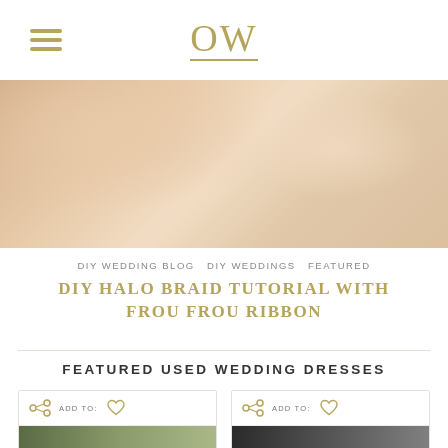OW (logo with hamburger menu)
[Figure (photo): Close-up photo of a woman's bare back and shoulder, wearing a white sleeveless top, soft natural light background]
DIY WEDDING BLOG   DIY WEDDINGS   FEATURED
DIY HALO BRAID TUTORIAL WITH FROU FROU RIBBON
FEATURED USED WEDDING DRESSES
[Figure (photo): Wedding dress product card with share and add-to-favorites icons, small thumbnail image of dress]
[Figure (photo): Wedding dress product card with share and add-to-favorites icons, small thumbnail image of dress]